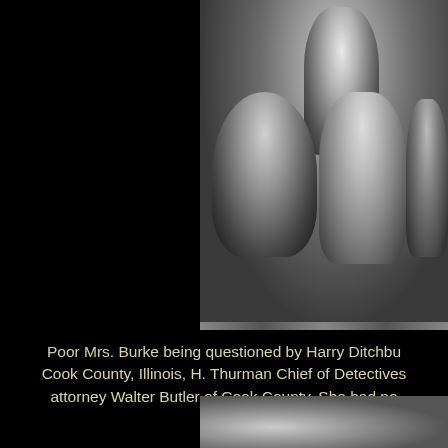[Figure (photo): Black and white newspaper photograph showing Mrs. Burke being questioned by officials. Several people are visible: a man standing in the background, a heavyset man on the left questioning a woman in the center, and another person partially visible on the right.]
Poor Mrs. Burke being questioned by Harry Ditchbu Cook County, Illinois, H. Thurman Chief of Detectives attorney Walter Butler of Cook County. She had no
[Figure (photo): Partial black and white photograph visible at the bottom of the page, partially cut off.]